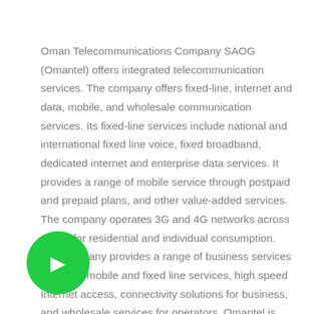Oman Telecommunications Company SAOG (Omantel) offers integrated telecommunication services. The company offers fixed-line, internet and data, mobile, and wholesale communication services. Its fixed-line services include national and international fixed line voice, fixed broadband, dedicated internet and enterprise data services. It provides a range of mobile service through postpaid and prepaid plans, and other value-added services. The company operates 3G and 4G networks across Oman for residential and individual consumption. The company provides a range of business services including mobile and fixed line services, high speed Internet access, connectivity solutions for business, and wholesale services for operators. Omantel is headquartered in Ruwi, Oman.